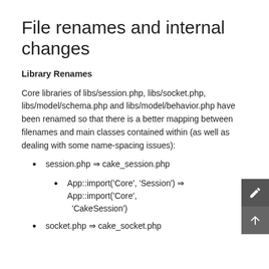File renames and internal changes
Library Renames
Core libraries of libs/session.php, libs/socket.php, libs/model/schema.php and libs/model/behavior.php have been renamed so that there is a better mapping between filenames and main classes contained within (as well as dealing with some name-spacing issues):
session.php ⇒ cake_session.php
App::import('Core', 'Session') ⇒ App::import('Core', 'CakeSession')
socket.php ⇒ cake_socket.php